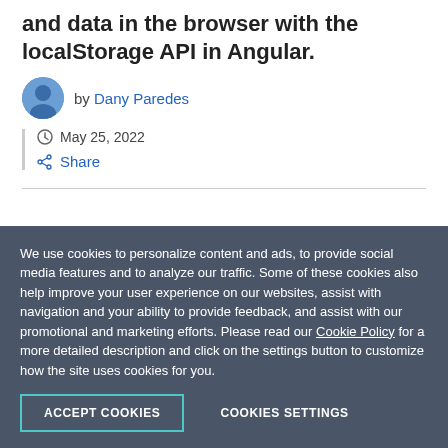and data in the browser with the localStorage API in Angular.
by Dany Paredes
May 25, 2022
Share
We use cookies to personalize content and ads, to provide social media features and to analyze our traffic. Some of these cookies also help improve your user experience on our websites, assist with navigation and your ability to provide feedback, and assist with our promotional and marketing efforts. Please read our Cookie Policy for a more detailed description and click on the settings button to customize how the site uses cookies for you.
ACCEPT COOKIES
COOKIES SETTINGS